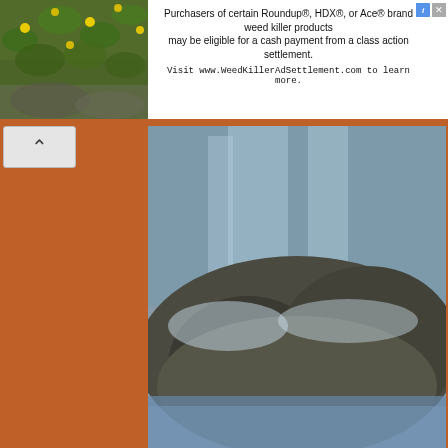[Figure (infographic): Advertisement banner at top: photo of yellow flowers and green foliage on left, ad text on right for Roundup/HDX/Ace weed killer class action settlement, with info and close icons.]
Purchasers of certain Roundup®, HDX®, or Ace® brand weed killer products may be eligible for a cash payment from a class action settlement. Visit www.WeedKillerAdSettlement.com to learn more.
[Figure (photo): Waterfall photo showing rocky terrain with water flowing, blue-green water in background, rocky mound in foreground.]
FRONT PAGE UPDATES! (HOURS OF OPERATION):

SUNDAY: 6.00 A.M. OR EARLIER.

MONDAY-WEDNESDAY: 5:30 P.M. OR EARLIER.

THURSDAY: OFF DAY!

FRIDAY: BLIND ITEMS & GOSSIP ON INSTAGRAM @ PANACHEREPORT

SATURDAY: OFF DAY!